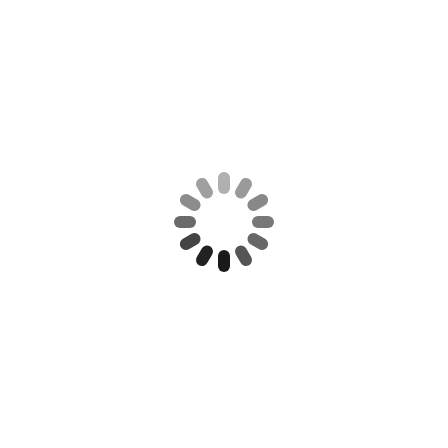[Figure (other): A loading spinner icon — circular arrangement of 12 rounded rectangular bars in varying shades of gray to black, indicating a loading/processing state. The bars progress from light gray at the top through medium gray on the sides to dark/black at the bottom, following a clockwise fade pattern.]